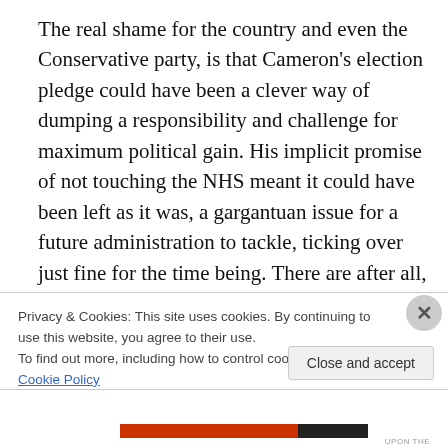The real shame for the country and even the Conservative party, is that Cameron's election pledge could have been a clever way of dumping a responsibility and challenge for maximum political gain. His implicit promise of not touching the NHS meant it could have been left as it was, a gargantuan issue for a future administration to tackle, ticking over just fine for the time being. There are after all, enough problems for the coalition to face. If this
Privacy & Cookies: This site uses cookies. By continuing to use this website, you agree to their use. To find out more, including how to control cookies, see here: Cookie Policy
Close and accept